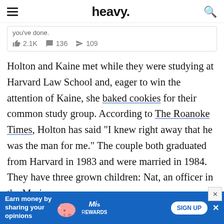heavy.
you've done.
2.1K   136   109
Holton and Kaine met while they were studying at Harvard Law School and, eager to win the attention of Kaine, she baked cookies for their common study group. According to The Roanoke Times, Holton has said “I knew right away that he was the man for me.” The couple both graduated from Harvard in 1983 and were married in 1984. They have three grown children: Nat, an officer in the Marine corps,
Annell   and W...   accord
[Figure (screenshot): Advertisement banner: Earn money by sharing your opinions - MisRewards SIGN UP]